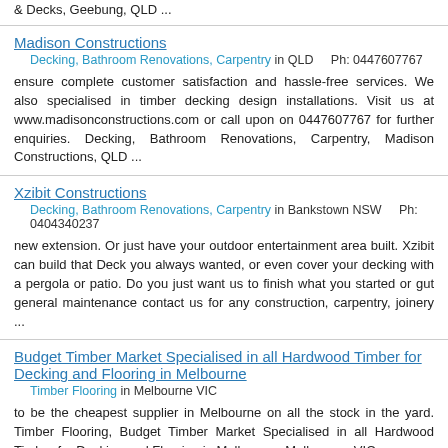& Decks, Geebung, QLD ...
Madison Constructions
Decking, Bathroom Renovations, Carpentry in QLD    Ph: 0447607767
ensure complete customer satisfaction and hassle-free services. We also specialised in timber decking design installations. Visit us at www.madisonconstructions.com or call upon on 0447607767 for further enquiries. Decking, Bathroom Renovations, Carpentry, Madison Constructions, QLD ...
Xzibit Constructions
Decking, Bathroom Renovations, Carpentry in Bankstown NSW    Ph: 0404340237
new extension. Or just have your outdoor entertainment area built. Xzibit can build that Deck you always wanted, or even cover your decking with a pergola or patio. Do you just want us to finish what you started or gut general maintenance contact us for any construction, carpentry, joinery ...
Budget Timber Market Specialised in all Hardwood Timber for Decking and Flooring in Melbourne
Timber Flooring in Melbourne VIC
to be the cheapest supplier in Melbourne on all the stock in the yard. Timber Flooring, Budget Timber Market Specialised in all Hardwood Timber for Decking and Flooring in Melbourne, Melbourne, VIC ...